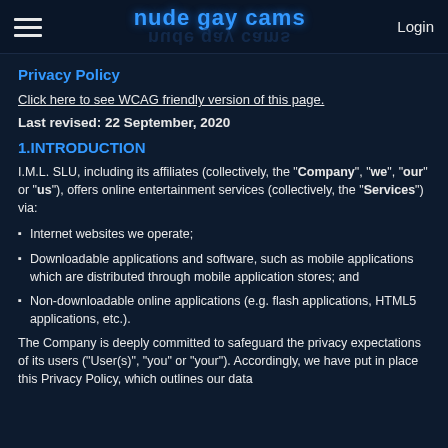nude gay cams | Login
Privacy Policy
Click here to see WCAG friendly version of this page.
Last revised: 22 September, 2020
1.INTRODUCTION
I.M.L. SLU, including its affiliates (collectively, the "Company", "we", "our" or "us"), offers online entertainment services (collectively, the "Services") via:
Internet websites we operate;
Downloadable applications and software, such as mobile applications which are distributed through mobile application stores; and
Non-downloadable online applications (e.g. flash applications, HTML5 applications, etc.).
The Company is deeply committed to safeguard the privacy expectations of its users ("User(s)", "you" or "your"). Accordingly, we have put in place this Privacy Policy, which outlines our data